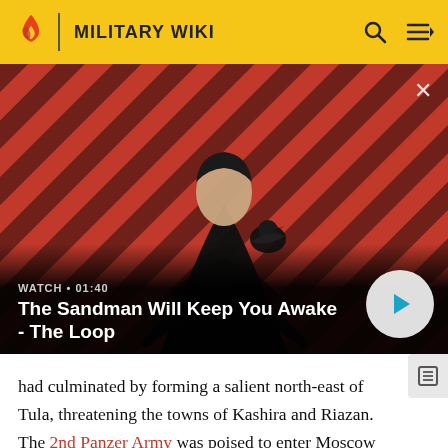MILITARY WIKI
[Figure (screenshot): Video thumbnail showing a man in dark clothing with a raven on his shoulder against a red and black diagonal striped background. Text overlay: 'WATCH • 01:40' and 'The Sandman Will Keep You Awake - The Loop'. Play button visible in bottom right.]
had culminated by forming a salient north-east of Tula, threatening the towns of Kashira and Riazan. The 2nd Panzer Army was poised to enter Moscow from the south and south-west. [3] Guderian had attempted to seize Tula from the rear and was strung out without reserves. The